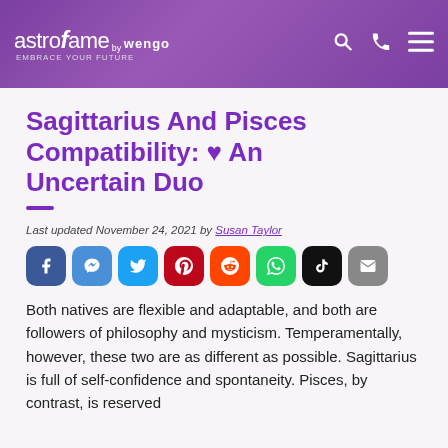astrofame by wengo - Embrace Your Future
Sagittarius And Pisces Compatibility: ♥ An Uncertain Duo
Last updated November 24, 2021 by Susan Taylor
[Figure (infographic): Social media sharing buttons: Facebook, Facebook Messenger, Twitter, Pinterest, Reddit, WhatsApp, TikTok, Email]
Both natives are flexible and adaptable, and both are followers of philosophy and mysticism. Temperamentally, however, these two are as different as possible. Sagittarius is full of self-confidence and spontaneity. Pisces, by contrast, is reserved...